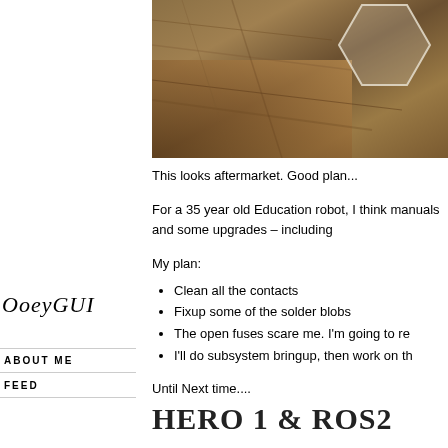[Figure (photo): Close-up photo of wood grain surface with a white hexagonal shape overlay, appears to be hardware or robotics component]
This looks aftermarket. Good plan...
For a 35 year old Education robot, I think manuals and some upgrades – including
My plan:
Clean all the contacts
Fixup some of the solder blobs
The open fuses scare me. I'm going to re
I'll do subsystem bringup, then work on th
Until Next time....
OoeyGUI
ABOUT ME
FEED
HERO 1 & ROS2